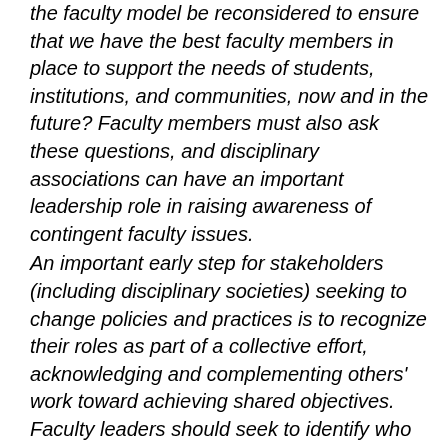the faculty model be reconsidered to ensure that we have the best faculty members in place to support the needs of students, institutions, and communities, now and in the future? Faculty members must also ask these questions, and disciplinary associations can have an important leadership role in raising awareness of contingent faculty issues. An important early step for stakeholders (including disciplinary societies) seeking to change policies and practices is to recognize their roles as part of a collective effort, acknowledging and complementing others' work toward achieving shared objectives. Faculty leaders should seek to identify who is already working to address contingent faculty issues, begin communicating with them, and align their efforts when possible. The Delphi Project is one such group that can provide resources and tool kits, data, and a well-formed statement on the reasons for